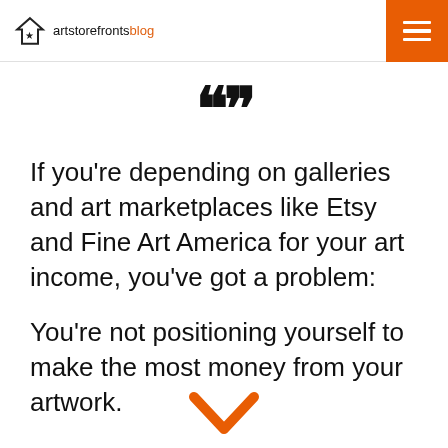artstorefronts blog
[Figure (illustration): Large bold closing quotation marks]
If you're depending on galleries and art marketplaces like Etsy and Fine Art America for your art income, you've got a problem:
You're not positioning yourself to make the most money from your artwork.
[Figure (illustration): Orange downward-pointing chevron arrow]